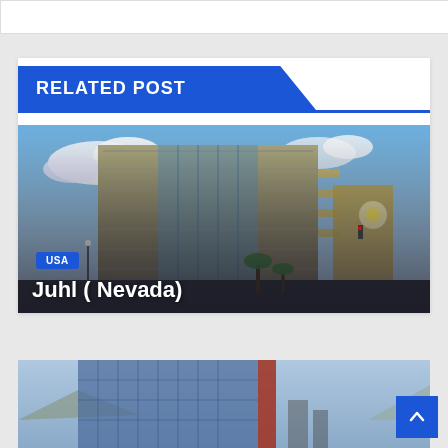RELATED POST
[Figure (photo): Exterior photo of Juhl apartment building in Nevada — multi-story modern residential building with glass facades, balconies, palm trees, and blue sky with clouds. Urban Las Vegas street scene.]
USA
Juhl ( Nevada)
[Figure (photo): Partial view of a glass-curtain-wall modern building with mountains in the background, Las Vegas cityscape visible.]